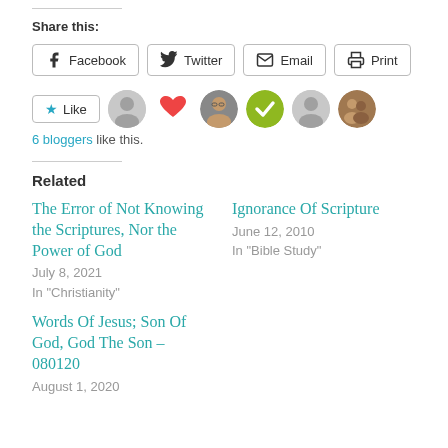Share this:
Facebook
Twitter
Email
Print
6 bloggers like this.
Related
The Error of Not Knowing the Scriptures, Nor the Power of God
July 8, 2021
In "Christianity"
Ignorance Of Scripture
June 12, 2010
In "Bible Study"
Words Of Jesus; Son Of God, God The Son – 080120
August 1, 2020